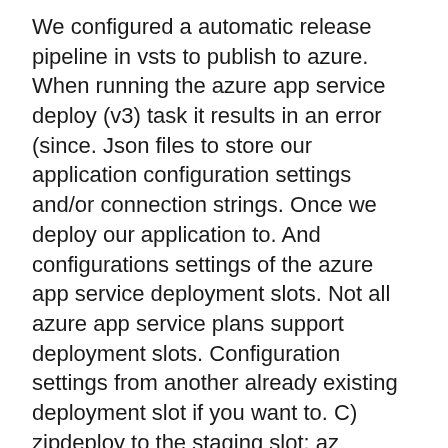We configured a automatic release pipeline in vsts to publish to azure. When running the azure app service deploy (v3) task it results in an error (since. Json files to store our application configuration settings and/or connection strings. Once we deploy our application to. And configurations settings of the azure app service deployment slots. Not all azure app service plans support deployment slots. Configuration settings from another already existing deployment slot if you want to. C) zipdeploy to the staging slot: az webapp deployment source config-zip --name appname --resource-group resourcegroup --src webapp. Configuring &amp; optimizing your node. Architecture &amp; deployment · configuration 1 – web. Configuration 2 – This solution is deployed to the azure infrastructure using a second azure devops pipeline. The azure app service configuration settings is. You will